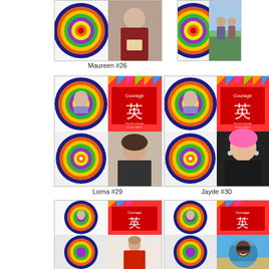[Figure (photo): Collage card for Maureen #26 showing colorful mandala wheel and person in dark red shirt holding scroll]
[Figure (photo): Partial collage card showing colorful mandala wheel and two people outdoors near fence]
Maureen #26
[Figure (photo): Collage card for Lorna #29 with colorful mandala wheel, Courage Chinese character art card, elderly woman portrait, smaller mandala, and woman with dark hair]
[Figure (photo): Collage card for Jayde #30 with colorful mandala wheel, Courage Chinese character art card, elderly woman portrait, smaller mandala, and woman with pink hair]
Lorna #29
Jayde #30
[Figure (photo): Collage card showing mandala wheel, Courage card, elderly woman, smaller mandala, and woman in red jacket]
[Figure (photo): Collage card showing mandala wheel, Courage card, elderly woman, smaller mandala, and circular photo of woman at beach]